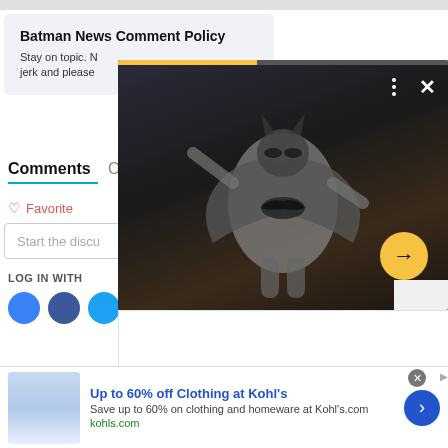Batman News Comment Policy
Stay on topic. N... jerk and please...
Comments
Community
♡ Favorite
Start the discu...
LOG IN WITH
[Figure (screenshot): Video player overlay showing Batman action figure in dark scene with yellow progress bar and close button]
Up to 60% off Clothing at Kohl's
Save up to 60% on clothing and homeware at Kohl's.com
kohls.com